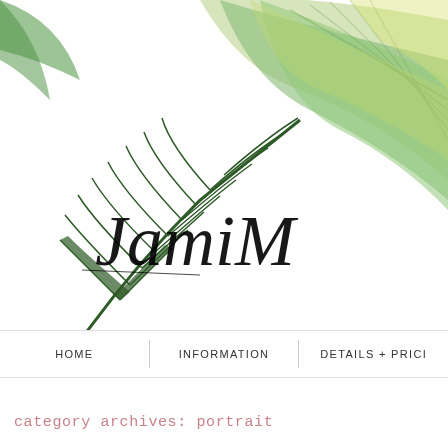[Figure (illustration): Watercolor tropical leaves illustration — large green and yellow-green banana leaves in upper right, dark green palm frond in center-left, overlapping against a white background. A calligraphic script logo/watermark reading 'JamiM' or similar appears over the leaves in black cursive font.]
HOME | INFORMATION | DETAILS + PRICING
category archives: portrait